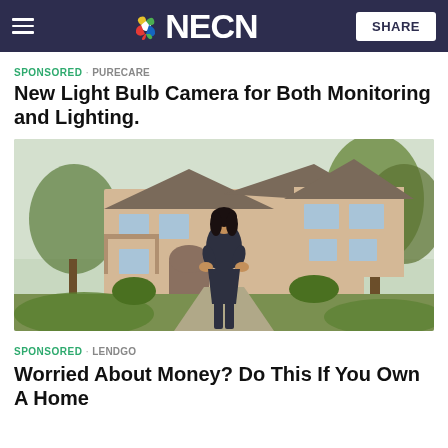NECN
SPONSORED · PURECARE
New Light Bulb Camera for Both Monitoring and Lighting.
[Figure (photo): Woman in dark dress standing in front of a large suburban house with greenery and trees]
SPONSORED · LENDGO
Worried About Money? Do This If You Own A Home